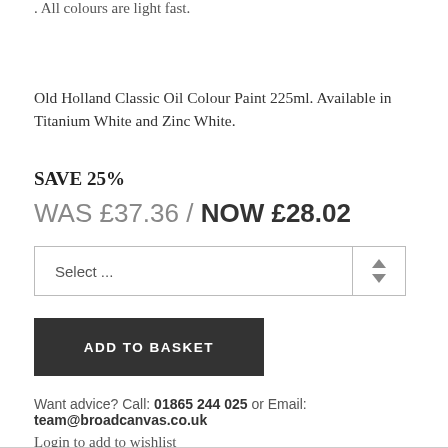. All colours are light fast.
Old Holland Classic Oil Colour Paint 225ml. Available in Titanium White and Zinc White.
SAVE 25%
WAS £37.36 / NOW £28.02
Select ...
ADD TO BASKET
Want advice? Call: 01865 244 025 or Email: team@broadcanvas.co.uk
Login to add to wishlist